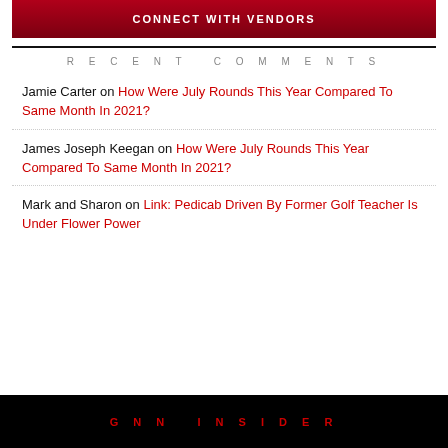[Figure (other): Red banner with text 'Connect with Vendors']
RECENT COMMENTS
Jamie Carter on How Were July Rounds This Year Compared To Same Month In 2021?
James Joseph Keegan on How Were July Rounds This Year Compared To Same Month In 2021?
Mark and Sharon on Link: Pedicab Driven By Former Golf Teacher Is Under Flower Power
GNN INSIDER